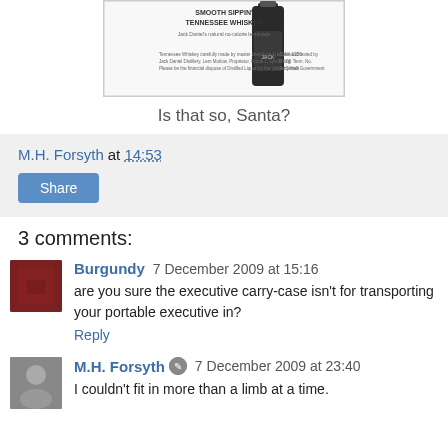[Figure (photo): Partial image of a Tennessee Whiskey advertisement/document at the top of the page]
Is that so, Santa?
M.H. Forsyth at 14:53
Share
3 comments:
Burgundy 7 December 2009 at 15:16
are you sure the executive carry-case isn't for transporting your portable executive in?
Reply
M.H. Forsyth 7 December 2009 at 23:40
I couldn't fit in more than a limb at a time.